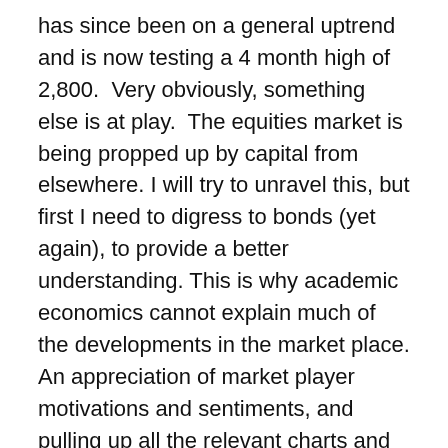has since been on a general uptrend and is now testing a 4 month high of 2,800.  Very obviously, something else is at play.  The equities market is being propped up by capital from elsewhere. I will try to unravel this, but first I need to digress to bonds (yet again), to provide a better understanding. This is why academic economics cannot explain much of the developments in the market place. An appreciation of market player motivations and sentiments, and pulling up all the relevant charts and indexes, as well as a keen view of current world affairs, may provide better insights.
Bonds trade on inflation. Bonds yield fixed interest income to investors. When inflation rises, fixed income earners suffer. So they dispose of bonds and move their money elsewhere. To sell, they price low. When bond prices drop, their yields go up. Bonds are debt instruments. When